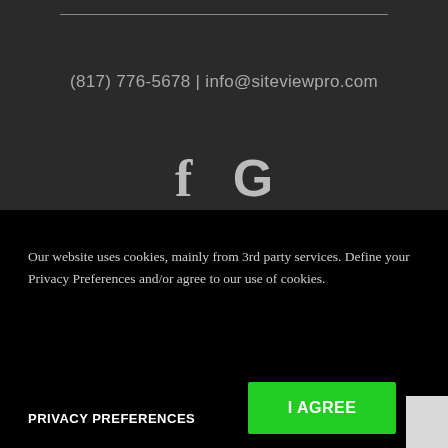(817) 776-5678 | info@siteviewpro.com
[Figure (illustration): Facebook 'f' icon and Google 'G' icon in gray on dark background]
TX License# B18917
Our website uses cookies, mainly from 3rd party services. Define your Privacy Preferences and/or agree to our use of cookies.
PRIVACY PREFERENCES
I AGREE